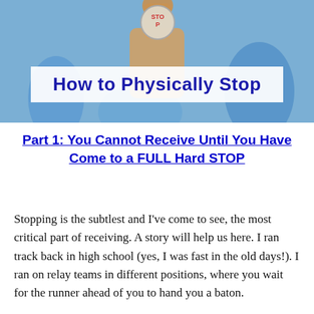[Figure (photo): Photo showing a person holding up a STOP sign, used as article header image with title overlay 'How to Physically Stop']
Part 1: You Cannot Receive Until You Have Come to a FULL Hard STOP
Stopping is the subtlest and I've come to see, the most critical part of receiving. A story will help us here. I ran track back in high school (yes, I was fast in the old days!). I ran on relay teams in different positions, where you wait for the runner ahead of you to hand you a baton.